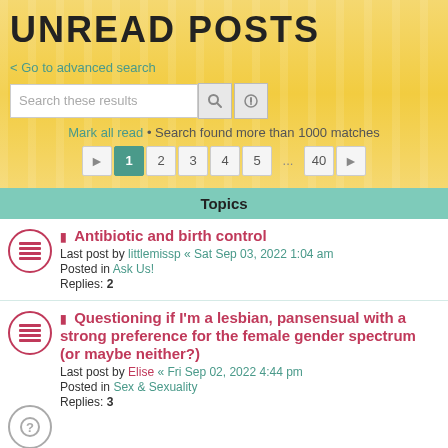UNREAD POSTS
< Go to advanced search
Search these results
Mark all read • Search found more than 1000 matches
Pages: 1 2 3 4 5 ... 40 >
Topics
Antibiotic and birth control
Last post by littlemissp « Sat Sep 03, 2022 1:04 am
Posted in Ask Us!
Replies: 2
Questioning if I'm a lesbian, pansensual with a strong preference for the female gender spectrum (or maybe neither?)
Last post by Elise « Fri Sep 02, 2022 4:44 pm
Posted in Sex & Sexuality
Replies: 3
Polyamory